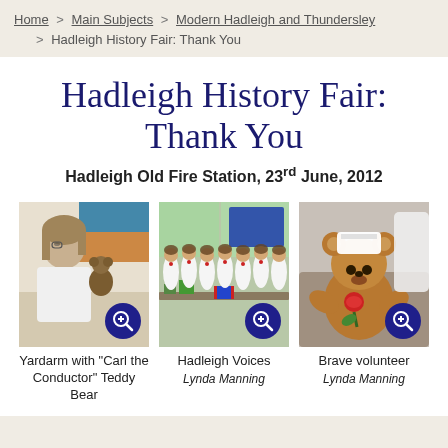Home > Main Subjects > Modern Hadleigh and Thundersley > Hadleigh History Fair: Thank You
Hadleigh History Fair: Thank You
Hadleigh Old Fire Station, 23rd June, 2012
[Figure (photo): Person with Carl the Conductor teddy bear at the fair, with magnify zoom button overlay]
Yardarm with "Carl the Conductor" Teddy Bear
[Figure (photo): Hadleigh Voices choir group at the fair, with magnify zoom button overlay]
Hadleigh Voices
Lynda Manning
[Figure (photo): Brave volunteer teddy bear with bandage and red rose, with magnify zoom button overlay]
Brave volunteer
Lynda Manning